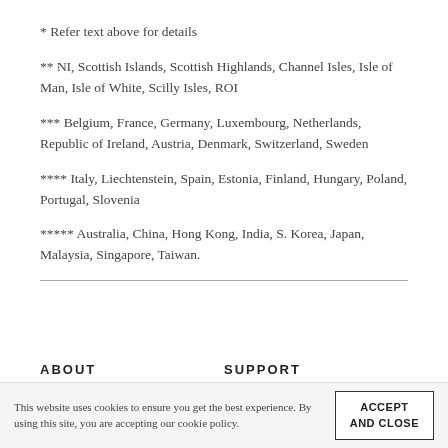* Refer text above for details
** NI, Scottish Islands, Scottish Highlands, Channel Isles, Isle of Man, Isle of White, Scilly Isles, ROI
*** Belgium, France, Germany, Luxembourg, Netherlands, Republic of Ireland, Austria, Denmark, Switzerland, Sweden
**** Italy, Liechtenstein, Spain, Estonia, Finland, Hungary, Poland, Portugal, Slovenia
***** Australia, China, Hong Kong, India, S. Korea, Japan, Malaysia, Singapore, Taiwan.
ABOUT   SUPPORT
This website uses cookies to ensure you get the best experience. By using this site, you are accepting our cookie policy.